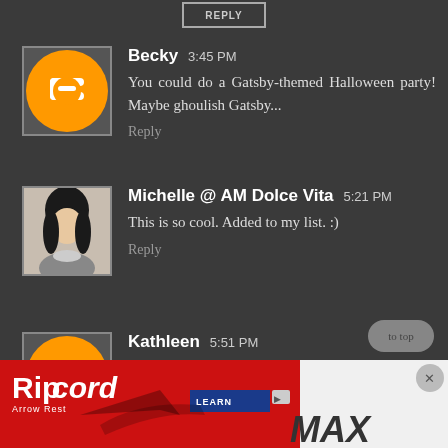REPLY
Becky 3:45 PM
You could do a Gatsby-themed Halloween party! Maybe ghoulish Gatsby...
Reply
Michelle @ AM Dolce Vita 5:21 PM
This is so cool. Added to my list. :)
Reply
Kathleen 5:51 PM
Did you see a costumed woman with a white standard poodle service dog, probably also in...
[Figure (screenshot): Ripcord Arrow Rest advertisement banner with red background, logo text, MAX branding, and Learn More button with close X]